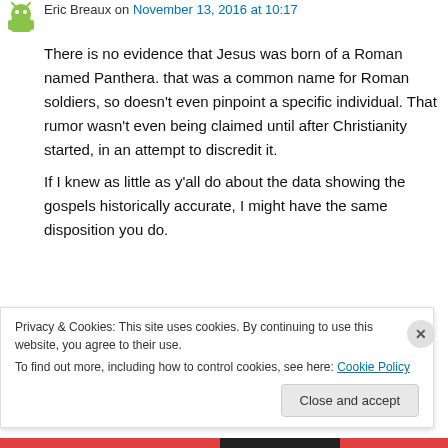Eric Breaux on November 13, 2016 at 10:17
There is no evidence that Jesus was born of a Roman named Panthera. that was a common name for Roman soldiers, so doesn't even pinpoint a specific individual. That rumor wasn't even being claimed until after Christianity started, in an attempt to discredit it.
If I knew as little as y'all do about the data showing the gospels historically accurate, I might have the same disposition you do.
There's plenty of well known ancient historians
Privacy & Cookies: This site uses cookies. By continuing to use this website, you agree to their use.
To find out more, including how to control cookies, see here: Cookie Policy
Close and accept